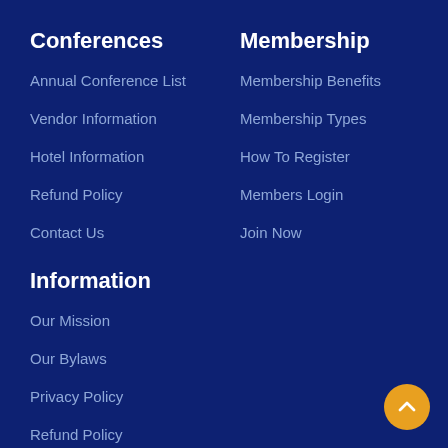Conferences
Annual Conference List
Vendor Information
Hotel Information
Refund Policy
Contact Us
Membership
Membership Benefits
Membership Types
How To Register
Members Login
Join Now
Information
Our Mission
Our Bylaws
Privacy Policy
Refund Policy
Terms & Conditions